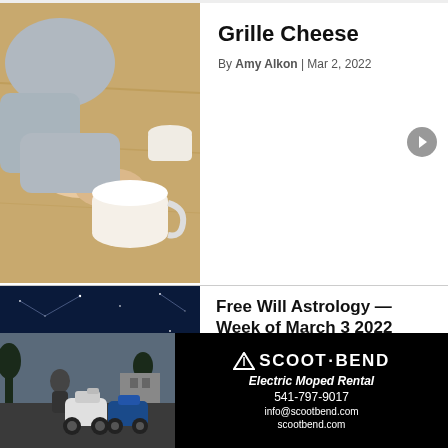[Figure (photo): Two people holding hands across a table with coffee cups, overhead view]
Grille Cheese
By Amy Alkon | Mar 2, 2022
[Figure (photo): Dark blue night sky with purple planet/orb and constellation lines — astrology themed]
Free Will Astrology —Week of March 3 2022
By Rob Brezsny | Mar 3, 2022
[Figure (photo): Scoot Bend advertisement — Electric Moped Rental, photo of person with mopeds, 541-797-9017, info@scootbend.com, scootbend.com]